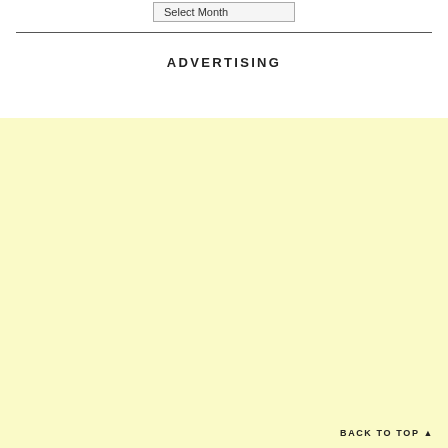Select Month
ADVERTISING
[Figure (other): Light yellow advertisement block placeholder area]
BACK TO TOP ▲